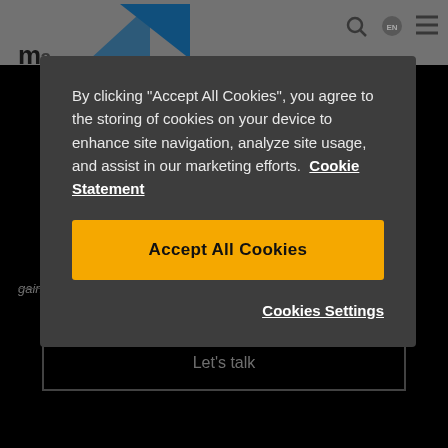m [logo/nav bar]
gain valuable 3D printing experience.
Let's talk
By clicking “Accept All Cookies”, you agree to the storing of cookies on your device to enhance site navigation, analyze site usage, and assist in our marketing efforts. Cookie Statement
Accept All Cookies
Cookies Settings